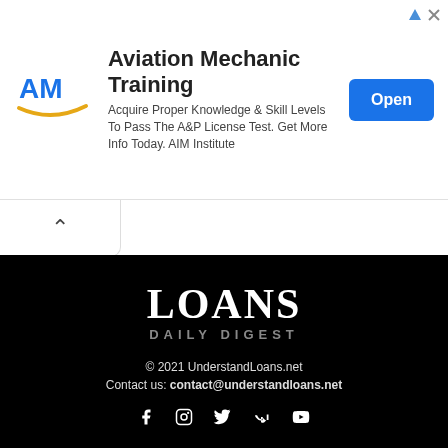[Figure (other): Aviation Mechanic Training advertisement banner with AIM Institute logo, descriptive text, and Open button]
LOANS
DAILY DIGEST
© 2021 UnderstandLoans.net
Contact us: contact@understandloans.net
About Us